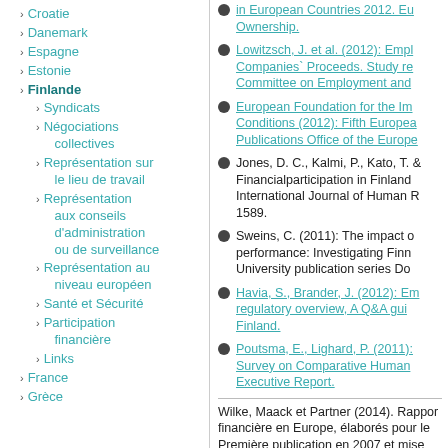Croatie
Danemark
Espagne
Estonie
Finlande (bold/selected)
Syndicats
Négociations collectives
Représentation sur le lieu de travail
Représentation aux conseils d'administration ou de surveillance
Représentation au niveau européen
Santé et Sécurité
Participation financière
Links
France
Grèce
in European Countries 2012. Eu... Ownership.
Lowitzsch, J. et al. (2012): Empl... Companies` Proceeds. Study re... Committee on Employment and...
European Foundation for the Im... Conditions (2012): Fifth Europea... Publications Office of the Europe...
Jones, D. C., Kalmi, P., Kato, T. &... Financialparticipation in Finland... International Journal of Human R... 1589.
Sweins, C. (2011): The impact o... performance: Investigating Finn... University publication series Do...
Havia, S., Brander, J. (2012): Em... regulatory overview, A Q&A gui... Finland.
Poutsma, E., Lighard, P. (2011):... Survey on Comparative Human ... Executive Report.
Wilke, Maack et Partner (2014). Rappor... financière en Europe, élaborés pour le... Première publication en 2007 et mise...